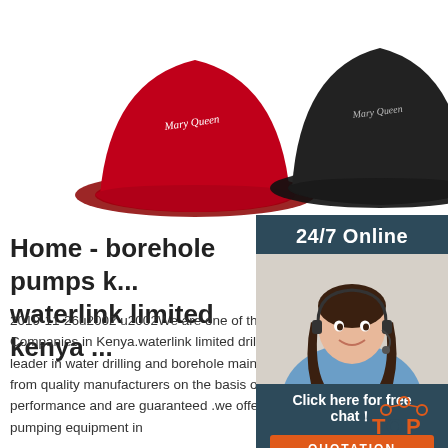[Figure (photo): Three bucket hats in red, black, and navy blue with cursive logo text, displayed against a white background.]
[Figure (photo): Customer service agent - woman with headset smiling, inside a dark teal sidebar panel labeled '24/7 Online' with 'Click here for free chat!' text and an orange QUOTATION button.]
Home - borehole pumps k... waterlink limited kenya ...
2019-11-26u2002·u2002We are one of the top water pumps suppliers Companies in Kenya.waterlink limited drilling company ltd – is also a leader in water drilling and borehole maintenance.Carefully selected from quality manufacturers on the basis of specification and performance and are guaranteed .we offer a wide range of borehole pumping equipment in